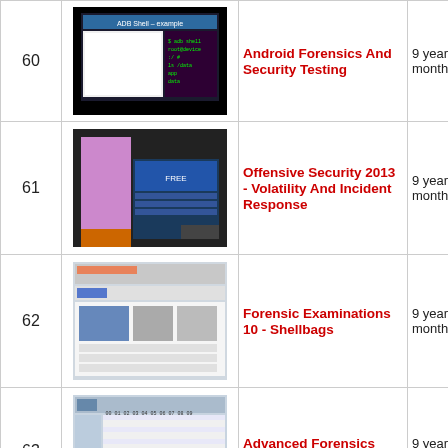| # | Thumbnail | Title | Age |
| --- | --- | --- | --- |
| 60 | [screenshot: ADB Shell example] | Android Forensics And Security Testing | 9 years, 2 months |
| 61 | [screenshot: Offensive Security presentation] | Offensive Security 2013 - Volatility And Incident Response | 9 years, 1 month |
| 62 | [screenshot: Shellbags tool] | Forensic Examinations 10 - Shellbags | 9 years, 1 month |
| 63 | [screenshot: hex dump analysis] | Advanced Forensics Analysis | 9 years, 1 month |